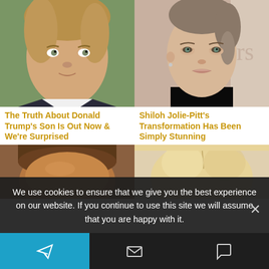[Figure (photo): Photo of a young boy (Barron Trump) with light brown hair against a green background]
The Truth About Donald Trump's Son Is Out Now & We're Surprised
[Figure (photo): Photo of a young woman (Shiloh Jolie-Pitt) with dark hair pulled up, wearing dark clothing]
Shiloh Jolie-Pitt's Transformation Has Been Simply Stunning
[Figure (photo): Partial photo of a person with dark skin, cropped at forehead level]
[Figure (photo): Partial photo of a blonde woman, cropped at top of head]
We use cookies to ensure that we give you the best experience on our website. If you continue to use this site we will assume that you are happy with it.
Navigation bar with send, mail, and chat icons